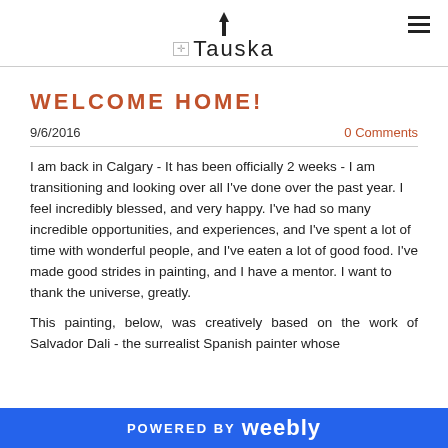Tauska
WELCOME HOME!
9/6/2016     0 Comments
I am back in Calgary - It has been officially 2 weeks - I am transitioning and looking over all I've done over the past year. I feel incredibly blessed, and very happy. I've had so many incredible opportunities, and experiences, and I've spent a lot of time with wonderful people, and I've eaten a lot of good food. I've made good strides in painting, and I have a mentor. I want to thank the universe, greatly.
This painting, below, was creatively based on the work of Salvador Dali - the surrealist Spanish painter whose
POWERED BY weebly